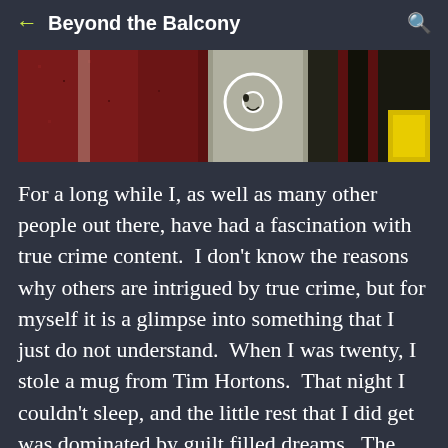Beyond the Balcony
[Figure (photo): Close-up photo of a dark red/maroon textured surface with yellow crime scene tape and a white circle marking, suggesting a crime scene investigation.]
For a long while I, as well as many other people out there, have had a fascination with true crime content.  I don't know the reasons why others are intrigued by true crime, but for myself it is a glimpse into something that I just do not understand.  When I was twenty, I stole a mug from Tim Hortons.  That night I couldn't sleep, and the little rest that I did get was dominated by guilt filled dreams.  The next morning, the mug